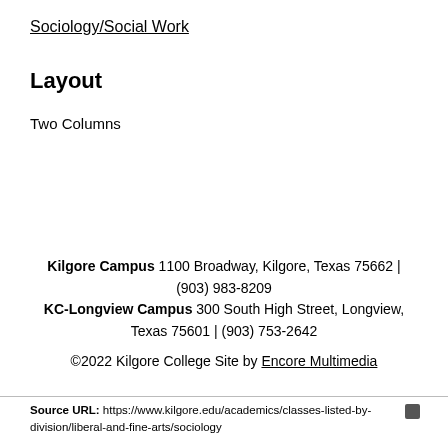Sociology/Social Work
Layout
Two Columns
Kilgore Campus 1100 Broadway, Kilgore, Texas 75662 | (903) 983-8209 KC-Longview Campus 300 South High Street, Longview, Texas 75601 | (903) 753-2642 ©2022 Kilgore College Site by Encore Multimedia
Source URL: https://www.kilgore.edu/academics/classes-listed-by-division/liberal-and-fine-arts/sociology